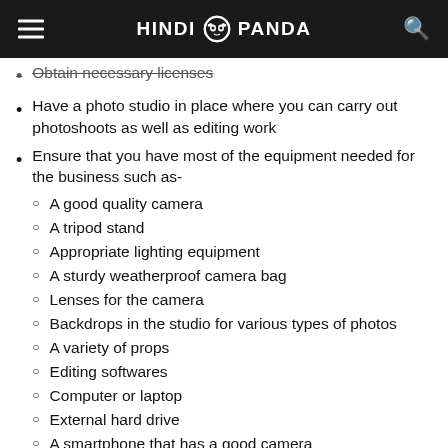HINDI PANDA
Obtain necessary licenses
Have a photo studio in place where you can carry out photoshoots as well as editing work
Ensure that you have most of the equipment needed for the business such as-
A good quality camera
A tripod stand
Appropriate lighting equipment
A sturdy weatherproof camera bag
Lenses for the camera
Backdrops in the studio for various types of photos
A variety of props
Editing softwares
Computer or laptop
External hard drive
A smartphone that has a good camera